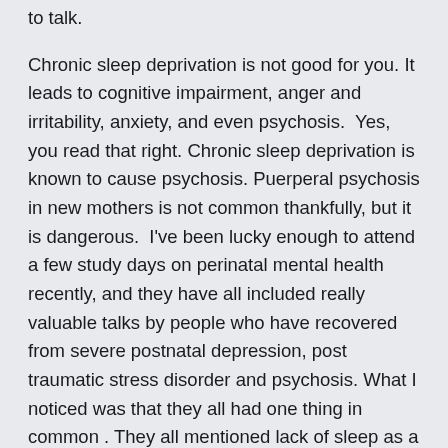to talk.
Chronic sleep deprivation is not good for you. It leads to cognitive impairment, anger and irritability, anxiety, and even psychosis.  Yes, you read that right. Chronic sleep deprivation is known to cause psychosis. Puerperal psychosis in new mothers is not common thankfully, but it is dangerous.  I've been lucky enough to attend a few study days on perinatal mental health recently, and they have all included really valuable talks by people who have recovered from severe postnatal depression, post traumatic stress disorder and psychosis. What I noticed was that they all had one thing in common . They all mentioned lack of sleep as a factor in their illness. The lovely Sinead Willis talked about "lack of sleep started to catch up with me....I couldn't sleep more than an hour at night and I became very disorientated". One of the effects of sleep deprivation